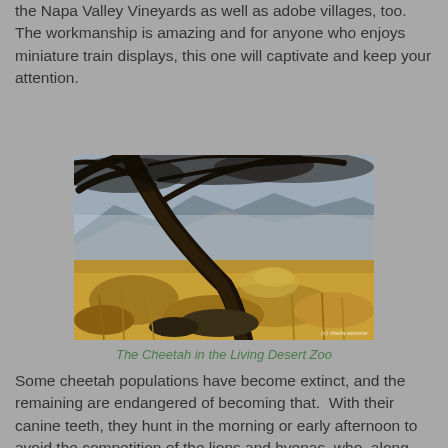the Napa Valley Vineyards as well as adobe villages, too. The workmanship is amazing and for anyone who enjoys miniature train displays, this one will captivate and keep your attention.
[Figure (photo): A cheetah camouflaged in dry grass and brush in the Living Desert Zoo, with a dark leaning tree trunk in the foreground and rocky mountains in the background. Watermark: (c) sheila.webster]
The Cheetah in the Living Desert Zoo
Some cheetah populations have become extinct, and the remaining are endangered of becoming that.  With their canine teeth, they hunt in the morning or early afternoon to avoid the competition of the lions and hyenas, who, along with leopards and wild hogs also prey upon the cheetah and